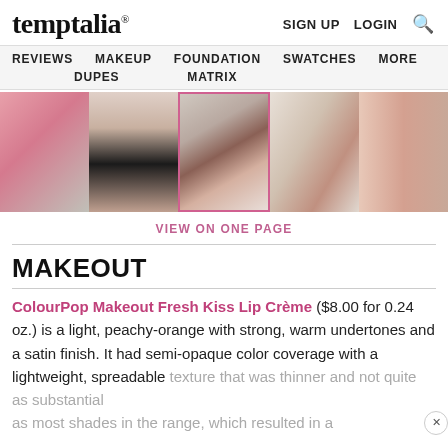temptalia® | SIGN UP  LOGIN  🔍
REVIEWS
MAKEUP DUPES
FOUNDATION MATRIX
SWATCHES
MORE
[Figure (photo): Five product images in a horizontal strip: pink color swatch, model wearing lipstick on face and lips closeup, ColourPop lip crème product tube open with wand, product box flatlay, and color swipe on skin.]
VIEW ON ONE PAGE
MAKEOUT
ColourPop Makeout Fresh Kiss Lip Crème ($8.00 for 0.24 oz.) is a light, peachy-orange with strong, warm undertones and a satin finish. It had semi-opaque color coverage with a lightweight, spreadable texture that was thinner and not quite as substantial as most shades in the range, which resulted in a